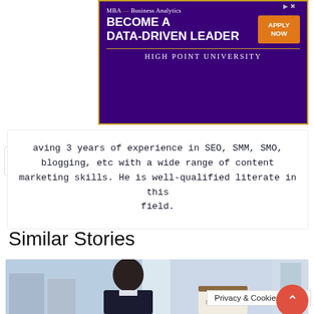[Figure (screenshot): Advertisement banner for High Point University MBA Business Analytics program with purple background, orange button saying APPLY NOW, and gold border.]
aving 3 years of experience in SEO, SMM, SMO, blogging, etc with a wide range of content marketing skills. He is well-qualified literate in this field.
Similar Stories
[Figure (photo): Photo of a young man in a suit looking down, with a clipboard showing the word DIGITAL, in an office setting.]
Privacy & Cookies Policy